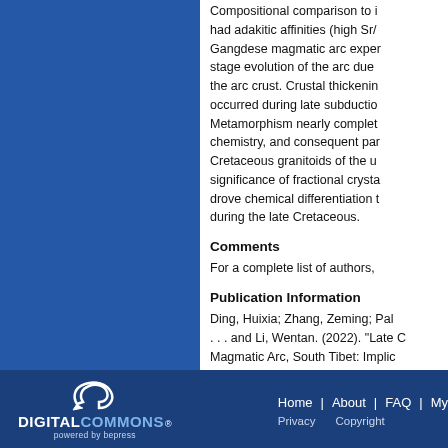Compositional comparison to i... had adakitic affinities (high Sr/... Gangdese magmatic arc exper... stage evolution of the arc due ... the arc crust. Crustal thickenin... occurred during late subductio... Metamorphism nearly complet... chemistry, and consequent par... Cretaceous granitoids of the up... significance of fractional crysta... drove chemical differentiation t... during the late Cretaceous.
Comments
For a complete list of authors,
Publication Information
Ding, Huixia; Zhang, Zeming; Pal... . . . and Li, Wentan. (2022). "Late C... Magmatic Arc, South Tibet: Implic... Journal of Petrology, 63(3), egac0...
[Figure (logo): Digital Commons powered by bepress logo in white and light blue on dark blue background]
Home | About | FAQ | My... Privacy  Copyright